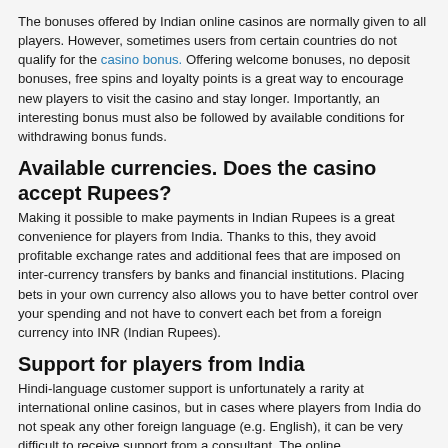The bonuses offered by Indian online casinos are normally given to all players. However, sometimes users from certain countries do not qualify for the casino bonus. Offering welcome bonuses, no deposit bonuses, free spins and loyalty points is a great way to encourage new players to visit the casino and stay longer. Importantly, an interesting bonus must also be followed by available conditions for withdrawing bonus funds.
Available currencies. Does the casino accept Rupees?
Making it possible to make payments in Indian Rupees is a great convenience for players from India. Thanks to this, they avoid profitable exchange rates and additional fees that are imposed on inter-currency transfers by banks and financial institutions. Placing bets in your own currency also allows you to have better control over your spending and not have to convert each bet from a foreign currency into INR (Indian Rupees).
Support for players from India
Hindi-language customer support is unfortunately a rarity at international online casinos, but in cases where players from India do not speak any other foreign language (e.g. English), it can be very difficult to receive support from a consultant. The online...